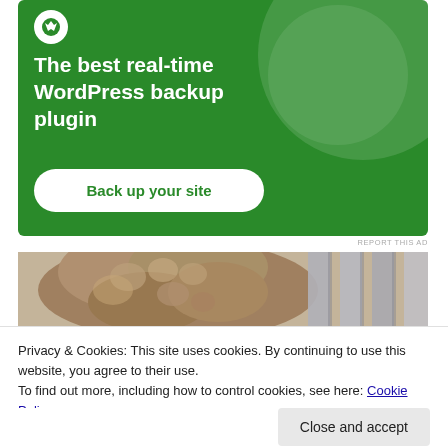[Figure (infographic): Green advertisement banner for a WordPress backup plugin. White decorative circles in top-right corner. Bold white text reads 'The best real-time WordPress backup plugin'. A white rounded-rectangle button says 'Back up your site' in green text.]
REPORT THIS AD
[Figure (photo): Partial photo of a person with curly/wavy light brown hair, and what appears to be vertical gray metal bars or a fence in the background on the right side.]
Privacy & Cookies: This site uses cookies. By continuing to use this website, you agree to their use.
To find out more, including how to control cookies, see here: Cookie Policy
Close and accept